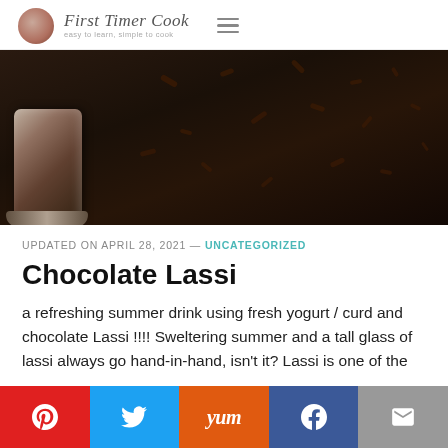First Timer Cook
[Figure (photo): Dark background with a metallic glass/cup visible at lower left, and scattered cardamom pods or spices on the dark surface]
UPDATED ON APRIL 28, 2021 — UNCATEGORIZED
Chocolate Lassi
a refreshing summer drink using fresh yogurt / curd and chocolate Lassi !!!! Sweltering summer and a tall glass of lassi always go hand-in-hand, isn't it? Lassi is one of the highly loved